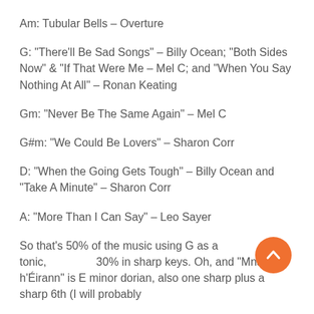Am: Tubular Bells – Overture
G: “There’ll Be Sad Songs” – Billy Ocean; “Both Sides Now” & “If That Were Me – Mel C; and “When You Say Nothing At All” – Ronan Keating
Gm: “Never Be The Same Again” – Mel C
G#m: “We Could Be Lovers” – Sharon Corr
D: “When the Going Gets Tough” – Billy Ocean and “Take A Minute” – Sharon Corr
A: “More Than I Can Say” – Leo Sayer
So that’s 50% of the music using G as a tonic, [icon] 30% in sharp keys. Oh, and “Mná Na h’Éirann” is E minor dorian, also one sharp plus a sharp 6th (I will probably